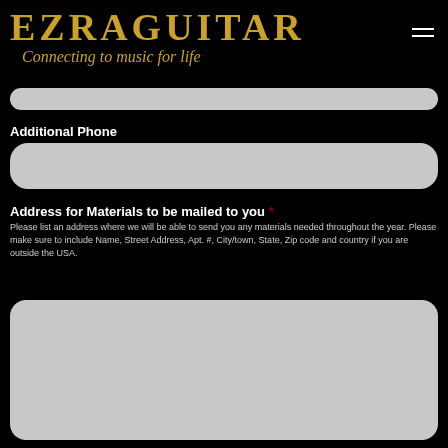EZRAGUITAR — Connecting to music for life
Additional Phone
Address for Materials to be mailed to you *
Please list an address where we will be able to send you any materials needed throughout the year. Please make sure to include Name, Street Address, Apt. #, City/town, State, Zip code and country if you are outside the USA.